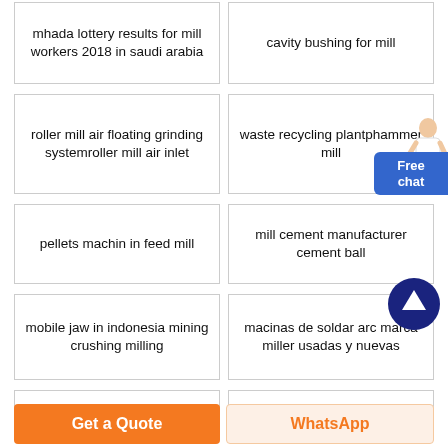mhada lottery results for mill workers 2018 in saudi arabia
cavity bushing for mill
roller mill air floating grinding systemroller mill air inlet
waste recycling plantphammer mill
pellets machin in feed mill
mill cement manufacturer cement ball
mobile jaw in indonesia mining crushing milling
macinas de soldar arc marca miller usadas y nuevas
Get a Quote
WhatsApp